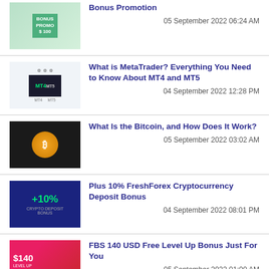Bonus Promotion
05 September 2022 06:24 AM
What is MetaTrader? Everything You Need to Know About MT4 and MT5
04 September 2022 12:28 PM
What Is the Bitcoin, and How Does It Work?
05 September 2022 03:02 AM
Plus 10% FreshForex Cryptocurrency Deposit Bonus
04 September 2022 08:01 PM
FBS 140 USD Free Level Up Bonus Just For You
05 September 2022 01:00 AM
FOREX BROKERS